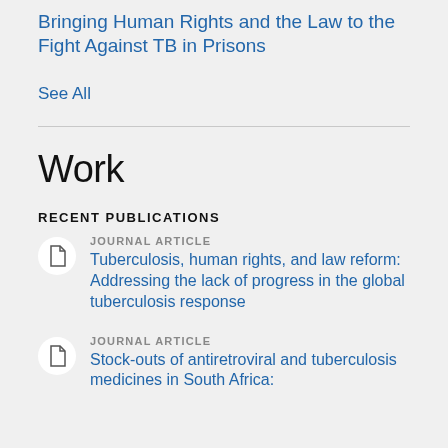Bringing Human Rights and the Law to the Fight Against TB in Prisons
See All
Work
RECENT PUBLICATIONS
JOURNAL ARTICLE
Tuberculosis, human rights, and law reform: Addressing the lack of progress in the global tuberculosis response
JOURNAL ARTICLE
Stock-outs of antiretroviral and tuberculosis medicines in South Africa: